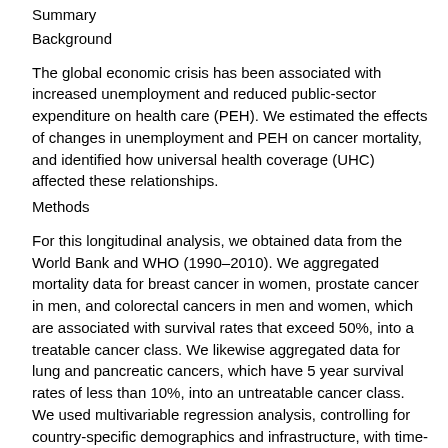Summary
Background
The global economic crisis has been associated with increased unemployment and reduced public-sector expenditure on health care (PEH). We estimated the effects of changes in unemployment and PEH on cancer mortality, and identified how universal health coverage (UHC) affected these relationships.
Methods
For this longitudinal analysis, we obtained data from the World Bank and WHO (1990–2010). We aggregated mortality data for breast cancer in women, prostate cancer in men, and colorectal cancers in men and women, which are associated with survival rates that exceed 50%, into a treatable cancer class. We likewise aggregated data for lung and pancreatic cancers, which have 5 year survival rates of less than 10%, into an untreatable cancer class. We used multivariable regression analysis, controlling for country-specific demographics and infrastructure, with time-lag analyses and robustness checks to investigate the relationship between unemployment, PEH, and cancer mortality, with and without UHC. We used trend analysis to project mortality rates,